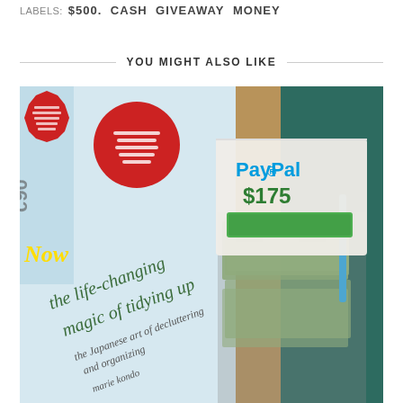LABELS: $500. CASH GIVEAWAY MONEY
YOU MIGHT ALSO LIKE
[Figure (photo): Photo showing a copy of 'the life-changing magic of tidying up' book alongside cash money and a PayPal $175 receipt/card on a wooden surface with a teal bag in the background.]